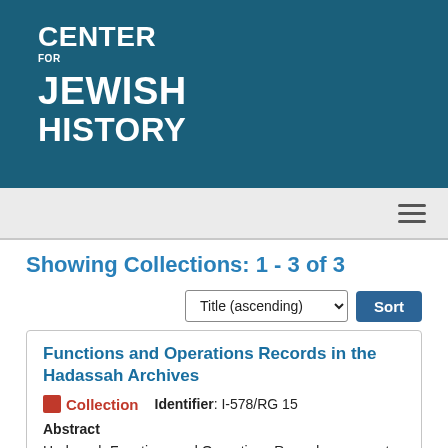[Figure (logo): Center for Jewish History logo — white text on teal background reading CENTER FOR JEWISH HISTORY]
Navigation bar with hamburger menu icon
Showing Collections: 1 - 3 of 3
Title (ascending) Sort
Functions and Operations Records in the Hadassah Archives
Collection   Identifier: I-578/RG 15
Abstract
Hadassah Functions and Operations Records represent the bulk of aid and services provided to